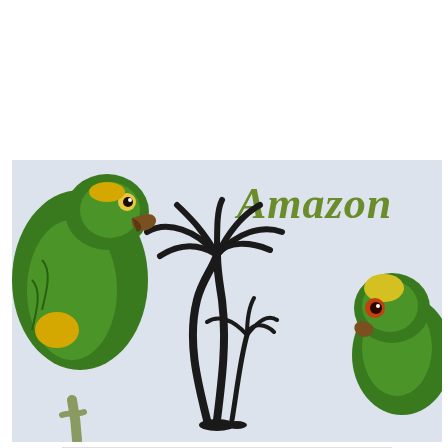[Figure (photo): Photo of two green/yellow Amazon parrots with a light gray background showing the word 'Amazon' in olive/green cursive text and a black palm tree silhouette in the center.]
[Figure (photo): Advertisement banner: Hair Cuttery ad with HC logo, text 'Walk-Ins Available' and 'Hair Cuttery' in blue, and a blue navigation/directions icon on the right.]